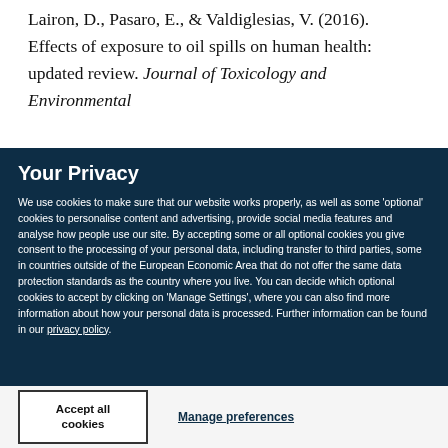Lairon, D., Pasaro, E., & Valdiglesias, V. (2016). Effects of exposure to oil spills on human health: updated review. Journal of Toxicology and Environmental
Your Privacy
We use cookies to make sure that our website works properly, as well as some 'optional' cookies to personalise content and advertising, provide social media features and analyse how people use our site. By accepting some or all optional cookies you give consent to the processing of your personal data, including transfer to third parties, some in countries outside of the European Economic Area that do not offer the same data protection standards as the country where you live. You can decide which optional cookies to accept by clicking on 'Manage Settings', where you can also find more information about how your personal data is processed. Further information can be found in our privacy policy.